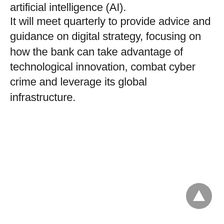artificial intelligence (AI).
It will meet quarterly to provide advice and guidance on digital strategy, focusing on how the bank can take advantage of technological innovation, combat cyber crime and leverage its global infrastructure.